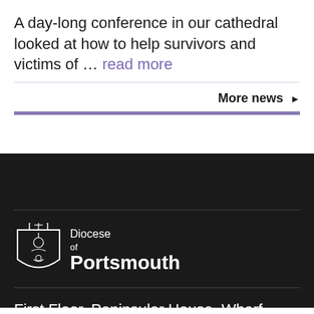A day-long conference in our cathedral looked at how to help survivors and victims of … read more
More news ▶
[Figure (logo): Diocese of Portsmouth logo in white on dark background]
First Floor, Peninsular House, Wharf Road, Portsmouth PO2 8HR  023